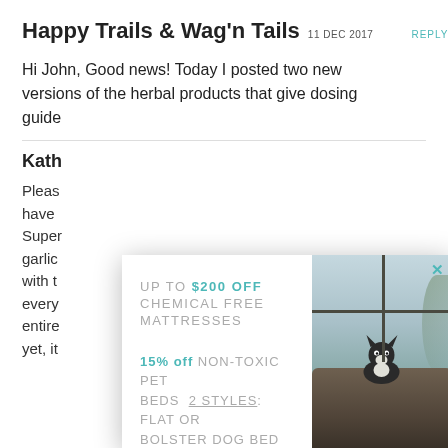Happy Trails & Wag'n Tails 11 DEC 2017 REPLY
Hi John, Good news! Today I posted two new versions of the herbal products that give dosing guide...
Kath
Pleas... have... Super... garlic... with t... every... entire... yet, it...
[Figure (screenshot): Popup advertisement overlay showing: 'UP TO $200 OFF CHEMICAL FREE MATTRESSES' and '15% off NON-TOXIC PET BEDS 2 STYLES: FLAT OR BOLSTER DOG BED' with a 'Yes please!' button, overlaid on top of a webpage. Right side of popup shows a dog (Boston Terrier) sitting on a dog bed near a window.]